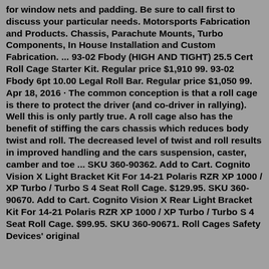for window nets and padding. Be sure to call first to discuss your particular needs. Motorsports Fabrication and Products. Chassis, Parachute Mounts, Turbo Components, In House Installation and Custom Fabrication. ... 93-02 Fbody (HIGH AND TIGHT) 25.5 Cert Roll Cage Starter Kit. Regular price $1,910 99. 93-02 Fbody 6pt 10.00 Legal Roll Bar. Regular price $1,050 99. Apr 18, 2016 · The common conception is that a roll cage is there to protect the driver (and co-driver in rallying). Well this is only partly true. A roll cage also has the benefit of stiffing the cars chassis which reduces body twist and roll. The decreased level of twist and roll results in improved handling and the cars suspension, caster, camber and toe ... SKU 360-90362. Add to Cart. Cognito Vision X Light Bracket Kit For 14-21 Polaris RZR XP 1000 / XP Turbo / Turbo S 4 Seat Roll Cage. $129.95. SKU 360-90670. Add to Cart. Cognito Vision X Rear Light Bracket Kit For 14-21 Polaris RZR XP 1000 / XP Turbo / Turbo S 4 Seat Roll Cage. $99.95. SKU 360-90671. Roll Cages Safety Devices' original